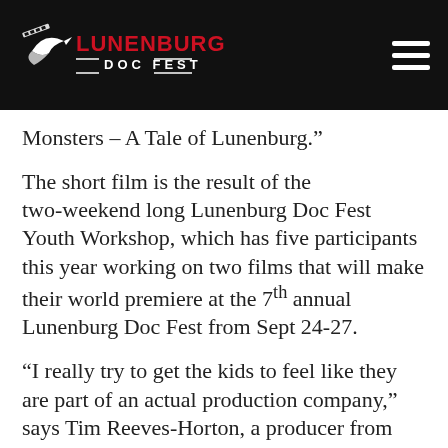LUNENBURG DOC FEST
Monsters – A Tale of Lunenburg.”
The short film is the result of the two-weekend long Lunenburg Doc Fest Youth Workshop, which has five participants this year working on two films that will make their world premiere at the 7th annual Lunenburg Doc Fest from Sept 24-27.
“I really try to get the kids to feel like they are part of an actual production company,” says Tim Reeves-Horton, a producer from Mahone Bay who is this year’s workshop mentor. “Everybody